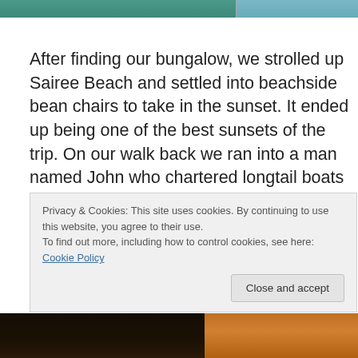[Figure (photo): Two partial photos at the top of the page — left shows a teal/green water or beach scene, right shows a blue water scene]
After finding our bungalow, we strolled up Sairee Beach and settled into beachside bean chairs to take in the sunset. It ended up being one of the best sunsets of the trip. On our walk back we ran into a man named John who chartered longtail boats for snorkeling trips. We arranged to meet him at 9AM the following morning, but wary that
Privacy & Cookies: This site uses cookies. By continuing to use this website, you agree to their use.
To find out more, including how to control cookies, see here: Cookie Policy
Close and accept
[Figure (photo): Two partial photos at the bottom — left shows a dark indoor/night scene with lights, right shows a warm orange/sunset outdoor scene]